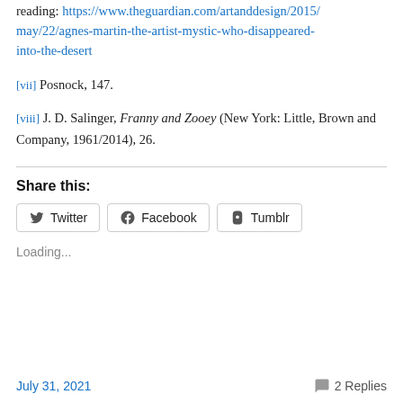reading: https://www.theguardian.com/artanddesign/2015/may/22/agnes-martin-the-artist-mystic-who-disappeared-into-the-desert
[vii] Posnock, 147.
[viii] J. D. Salinger, Franny and Zooey (New York: Little, Brown and Company, 1961/2014), 26.
Share this:
Twitter  Facebook  Tumblr
Loading...
July 31, 2021   2 Replies